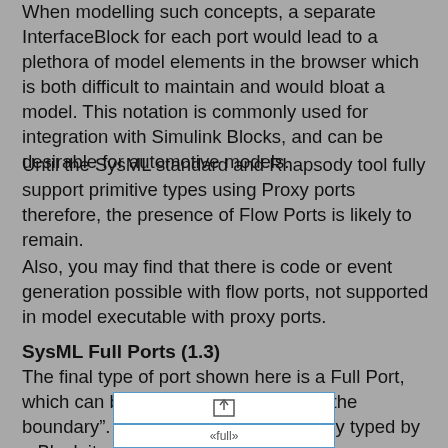When modelling such concepts, a separate InterfaceBlock for each port would lead to a plethora of model elements in the browser which is both difficult to maintain and would bloat a model. This notation is commonly used for integration with Simulink Blocks, and can be desirable for automotive models.
Until the SysML standard and Rhapsody tool fully support primitive types using Proxy ports therefore, the presence of Flow Ports is likely to remain.
Also, you may find that there is code or event generation possible with flow ports, not supported in model executable with proxy ports.
SysML Full Ports (1.3)
The final type of port shown here is a Full Port, which can be thought of as “a part on the boundary”. A full port is most commonly typed by a Block itself.
[Figure (engineering-diagram): A SysML diagram block showing a full port symbol. A white rectangle with a blue horizontal dividing line and a port icon (arrow box) with label «full».]